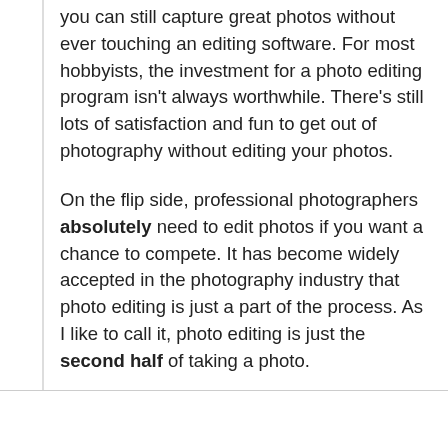you can still capture great photos without ever touching an editing software. For most hobbyists, the investment for a photo editing program isn't always worthwhile. There's still lots of satisfaction and fun to get out of photography without editing your photos.
On the flip side, professional photographers absolutely need to edit photos if you want a chance to compete. It has become widely accepted in the photography industry that photo editing is just a part of the process. As I like to call it, photo editing is just the second half of taking a photo.